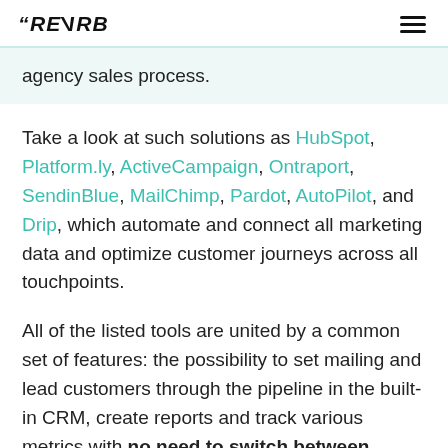REVERB (logo) | hamburger menu
agency sales process.
Take a look at such solutions as HubSpot, Platform.ly, ActiveCampaign, Ontraport, SendinBlue, MailChimp, Pardot, AutoPilot, and Drip, which automate and connect all marketing data and optimize customer journeys across all touchpoints.
All of the listed tools are united by a common set of features: the possibility to set mailing and lead customers through the pipeline in the built-in CRM, create reports and track various metrics with no need to switch between several different tools.